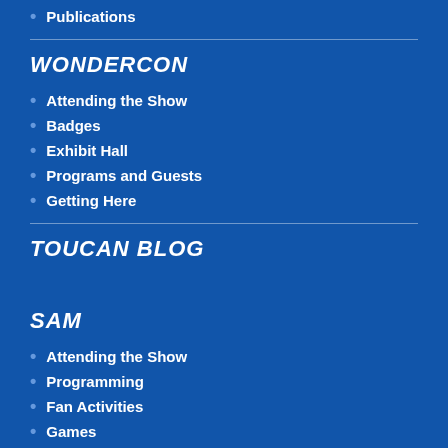Publications
WONDERCON
Attending the Show
Badges
Exhibit Hall
Programs and Guests
Getting Here
TOUCAN BLOG
SAM
Attending the Show
Programming
Fan Activities
Games
AWARDS